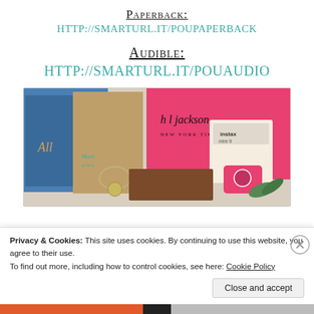Paperback: HTTP://SMARTURL.IT/POUPaperback
Audible: HTTP://SMARTURL.IT/POUAudio
[Figure (photo): Photo of book merchandise including two book covers (one titled 'More of You'), a charm bracelet, a pink gift box with 'h l jackson' signature, a Fujifilm Instax Mini camera box, and other items arranged together.]
Privacy & Cookies: This site uses cookies. By continuing to use this website, you agree to their use.
To find out more, including how to control cookies, see here: Cookie Policy
Close and accept